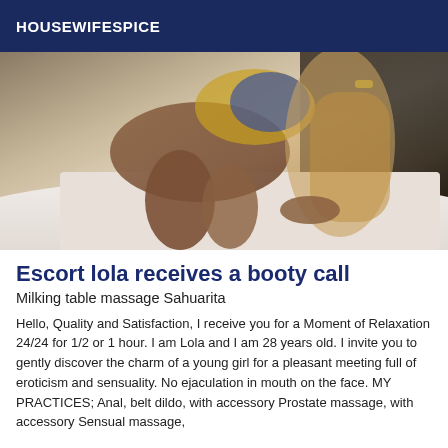HOUSEWIFESPICE
[Figure (photo): Photo of a woman on a bed]
Escort lola receives a booty call
Milking table massage Sahuarita
Hello, Quality and Satisfaction, I receive you for a Moment of Relaxation 24/24 for 1/2 or 1 hour. I am Lola and I am 28 years old. I invite you to gently discover the charm of a young girl for a pleasant meeting full of eroticism and sensuality. No ejaculation in mouth on the face. MY PRACTICES; Anal, belt dildo, with accessory Prostate massage, with accessory Sensual massage,